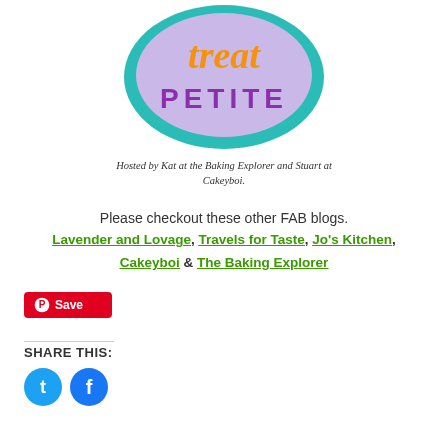[Figure (logo): Treat Petite logo: teal organic blob shape border with lavender interior, orange cursive 'treat' text and purple uppercase 'PETITE' text]
Hosted by Kat at the Baking Explorer and Stuart at Cakeyboi.
Please checkout these other FAB blogs.
Lavender and Lovage, Travels for Taste, Jo's Kitchen, Cakeyboi & The Baking Explorer
[Figure (other): Pinterest Save button (red rounded rectangle with Pinterest P icon and Save text)]
SHARE THIS:
[Figure (other): Twitter and Facebook social share icon buttons (teal circles)]